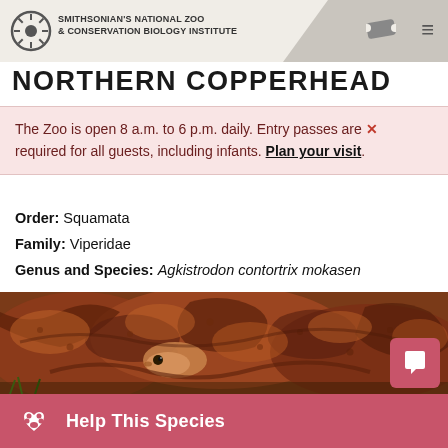SMITHSONIAN'S NATIONAL ZOO & CONSERVATION BIOLOGY INSTITUTE
NORTHERN COPPERHEAD
The Zoo is open 8 a.m. to 6 p.m. daily. Entry passes are required for all guests, including infants. Plan your visit.
Order: Squamata
Family: Viperidae
Genus and Species: Agkistrodon contortrix mokasen
[Figure (photo): Close-up photograph of a northern copperhead snake coiled up, showing its distinctive copper-reddish-brown scales with hourglass-shaped banding pattern. The snake's head is visible facing left.]
Help This Species